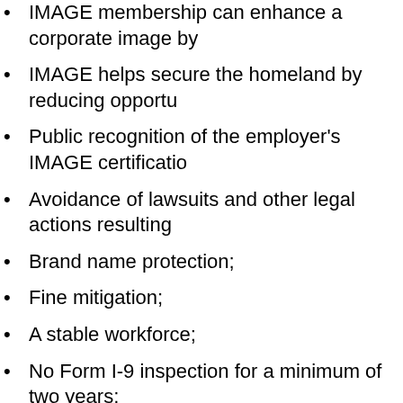IMAGE membership can enhance a corporate image by…
IMAGE helps secure the homeland by reducing opportu…
Public recognition of the employer's IMAGE certification…
Avoidance of lawsuits and other legal actions resulting…
Brand name protection;
Fine mitigation;
A stable workforce;
No Form I-9 inspection for a minimum of two years;
ICE provided training and guidance on proper hiring pr…
Streamlined IMAGE certification process
Under the streamlined IMAGE certification process, employers w…
Enroll in the E-Verify program within 60 days;